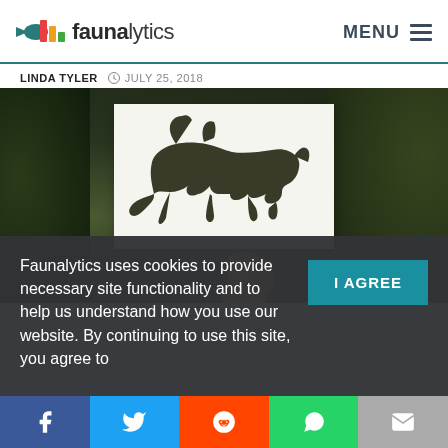faunalytics — MENU
LINDA TYLER  JULY 25, 2018
[Figure (photo): A hand holding up a white card with a dark panther/cougar silhouette against a blurred green forest background]
Faunalytics uses cookies to provide necessary site functionality and to help us understand how you use our website. By continuing to use this site, you agree to
[Figure (other): Social sharing bar with Facebook, Twitter, Reddit, WhatsApp, and Email buttons]